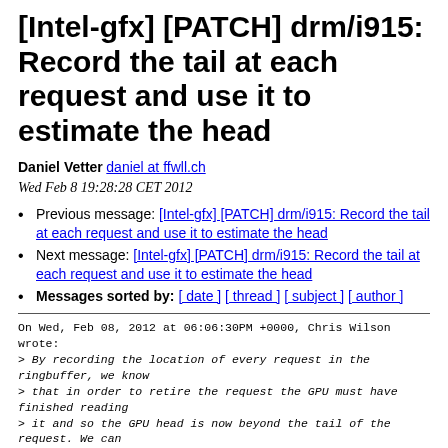[Intel-gfx] [PATCH] drm/i915: Record the tail at each request and use it to estimate the head
Daniel Vetter daniel at ffwll.ch
Wed Feb 8 19:28:28 CET 2012
Previous message: [Intel-gfx] [PATCH] drm/i915: Record the tail at each request and use it to estimate the head
Next message: [Intel-gfx] [PATCH] drm/i915: Record the tail at each request and use it to estimate the head
Messages sorted by: [ date ] [ thread ] [ subject ] [ author ]
On Wed, Feb 08, 2012 at 06:06:30PM +0000, Chris Wilson wrote:
> By recording the location of every request in the ringbuffer, we know
> that in order to retire the request the GPU must have finished reading
> it and so the GPU head is now beyond the tail of the request. We can
> therefore provide a conservative estimate of where